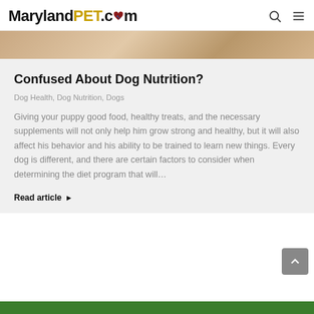MarylandPET.com
[Figure (photo): Close-up photo of dog food or treats in a bowl, partially visible at top of page]
Confused About Dog Nutrition?
Dog Health, Dog Nutrition, Dogs
Giving your puppy good food, healthy treats, and the necessary supplements will not only help him grow strong and healthy, but it will also affect his behavior and his ability to be trained to learn new things. Every dog is different, and there are certain factors to consider when determining the diet program that will…
Read article ▶
[Figure (photo): Green outdoor photo partially visible at bottom of page]